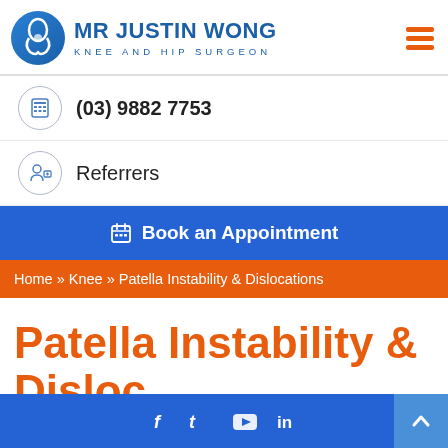[Figure (logo): Mr Justin Wong Knee and Hip Surgeon logo with circular blue knee/hip icon and text]
(03) 9882 7753
Referrers
Book an Appointment
Home » Knee » Patella Instability & Dislocations
Patella Instability &
f  t  YouTube  in